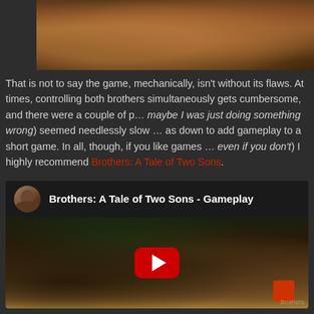[Figure (screenshot): Partial screenshot from Brothers: A Tale of Two Sons game showing dark earthy forest scene, cropped at top]
That is not to say the game, mechanically, isn't without its flaws. At times, controlling both brothers simultaneously gets cumbersome, and there were a couple of p… (maybe I was just doing something wrong) seemed needlessly slow … as down to add gameplay to a short game. In all, though, if you like games … (even if you don't) I highly recommend Brothers: A Tale of Two Sons.
[Figure (screenshot): Embedded YouTube video thumbnail for 'Brothers: A Tale of Two Sons - Gameplay' showing game scene with play button overlay, user avatar and video title in header]